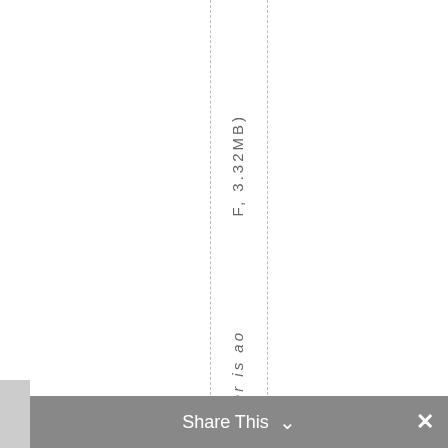F, 3.32MB) AshlandArtCenter is a
[Figure (screenshot): Share This bar at the bottom with arrow icon and X close button on dark gray background]